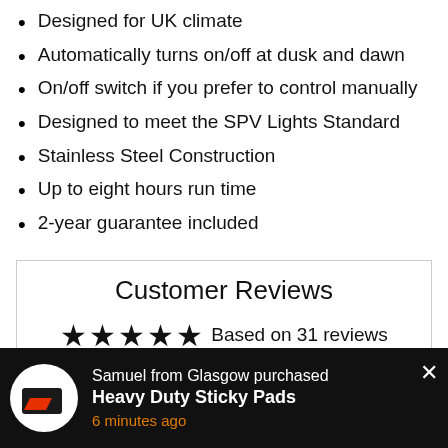Designed for UK climate
Automatically turns on/off at dusk and dawn
On/off switch if you prefer to control manually
Designed to meet the SPV Lights Standard
Stainless Steel Construction
Up to eight hours run time
2-year guarantee included
Customer Reviews
★★★★★ Based on 31 reviews
Write a review
Samuel from Glasgow purchased Heavy Duty Sticky Pads 6 minutes ago